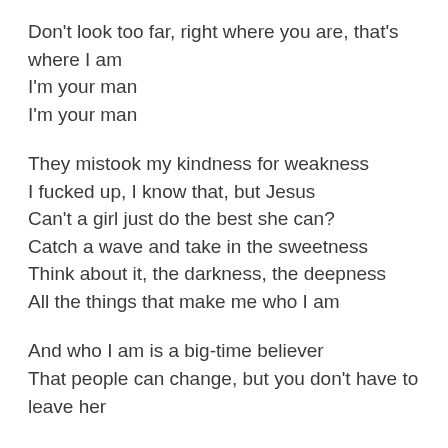Don't look too far, right where you are, that's where I am
I'm your man
I'm your man
They mistook my kindness for weakness
I fucked up, I know that, but Jesus
Can't a girl just do the best she can?
Catch a wave and take in the sweetness
Think about it, the darkness, the deepness
All the things that make me who I am
And who I am is a big-time believer
That people can change, but you don't have to leave her